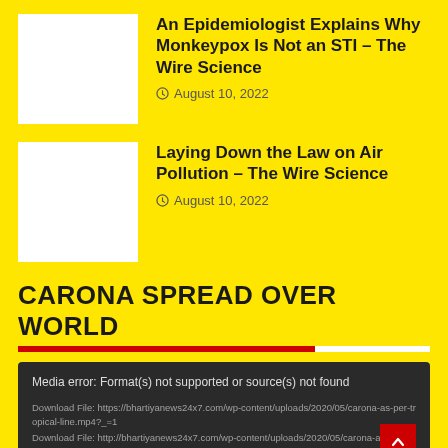[Figure (photo): White thumbnail placeholder image for first article]
An Epidemiologist Explains Why Monkeypox Is Not an STI – The Wire Science
August 10, 2022
[Figure (photo): White thumbnail placeholder image for second article]
Laying Down the Law on Air Pollution – The Wire Science
August 10, 2022
CARONA SPREAD OVER WORLD
Media error: Format(s) not supported or source(s) not found
Download File: https://bhartiyanews24x7.com/wp-content/uploads/2020/05/carona-as-per-tropical-line.mp4?_=1
Download File: http://bhartiyanews24x7.com/wp-content/uploads/2020/05/carona-as-per-tropical-line.mp4?_=1